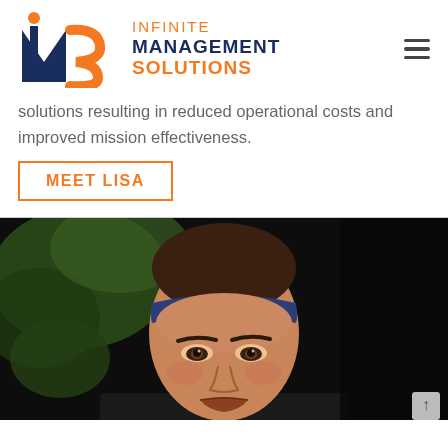[Figure (logo): IMS Infinite Management Solutions logo with orange and navy blue colors]
solutions resulting in reduced operational costs and improved mission effectiveness.
MEET LISA
[Figure (photo): Close-up portrait of a woman wearing a blue headband, with natural/dreadlocked hair, looking directly at the camera. Background is dark with greenery.]